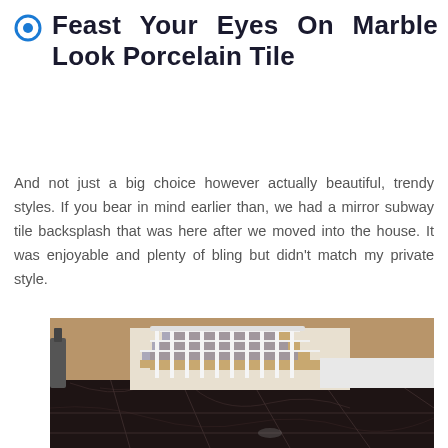Feast Your Eyes On Marble Look Porcelain Tile
And not just a big choice however actually beautiful, trendy styles. If you bear in mind earlier than, we had a mirror subway tile backsplash that was here after we moved into the house. It was enjoyable and plenty of bling but didn't match my private style.
[Figure (photo): Interior photo showing a staircase with white spindles and dark marble-look porcelain tile flooring in the foreground.]